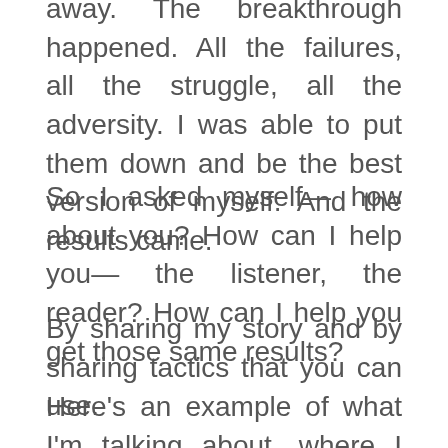away. The breakthrough happened. All the failures, all the struggle, all the adversity. I was able to put them down and be the best version of myself. And the results came.
So I asked myself— how about you? How can I help you— the listener, the reader? How can I help you get those same results?
By sharing my story and by sharing tactics that you can use.
Here's an example of what I'm talking about, where I was struggling but didn't get results.